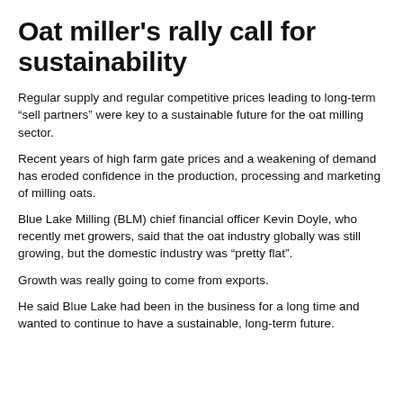Oat miller's rally call for sustainability
Regular supply and regular competitive prices leading to long-term “sell partners” were key to a sustainable future for the oat milling sector.
Recent years of high farm gate prices and a weakening of demand has eroded confidence in the production, processing and marketing of milling oats.
Blue Lake Milling (BLM) chief financial officer Kevin Doyle, who recently met growers, said that the oat industry globally was still growing, but the domestic industry was “pretty flat”.
Growth was really going to come from exports.
He said Blue Lake had been in the business for a long time and wanted to continue to have a sustainable, long-term future.